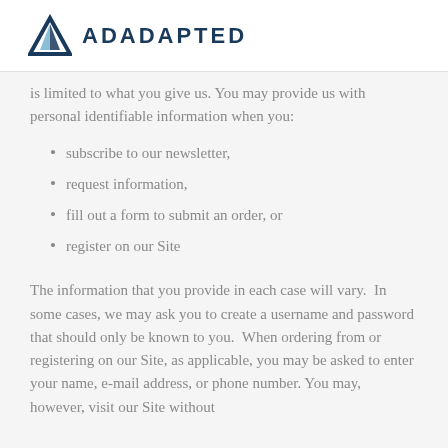ADADAPTED
is limited to what you give us. You may provide us with personal identifiable information when you:
subscribe to our newsletter,
request information,
fill out a form to submit an order, or
register on our Site
The information that you provide in each case will vary. In some cases, we may ask you to create a username and password that should only be known to you. When ordering from or registering on our Site, as applicable, you may be asked to enter your name, e-mail address, or phone number. You may, however, visit our Site without